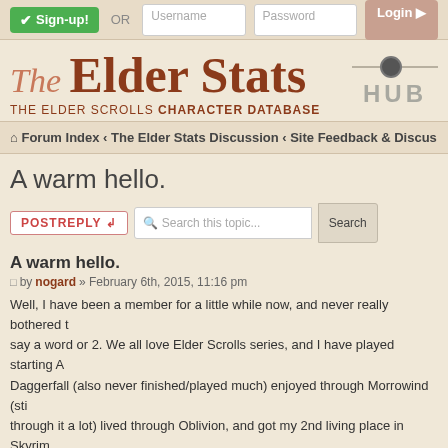Sign-up! OR Username Password Login
The Elder Stats — THE ELDER SCROLLS CHARACTER DATABASE
HUB
Forum Index ‹ The Elder Stats Discussion ‹ Site Feedback & Discus
A warm hello.
POSTREPLY  Search this topic... Search
A warm hello.
by nogard » February 6th, 2015, 11:16 pm
Well, I have been a member for a little while now, and never really bothered to say a word or 2. We all love Elder Scrolls series, and I have played starting A... Daggerfall (also never finished/played much) enjoyed through Morrowind (sti... through it a lot) lived through Oblivion, and got my 2nd living place in Skyrim... most of the things you can see and live through, in Skyrim. I am 27 years old... enjoy living through certain games, just like majority of us, we all got our esc...